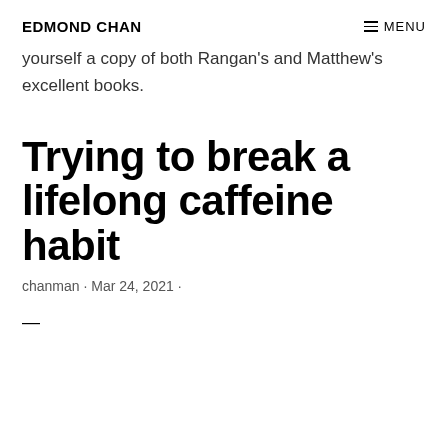EDMOND CHAN   ≡ MENU
yourself a copy of both Rangan's and Matthew's excellent books.
Trying to break a lifelong caffeine habit
chanman · Mar 24, 2021 ·
—